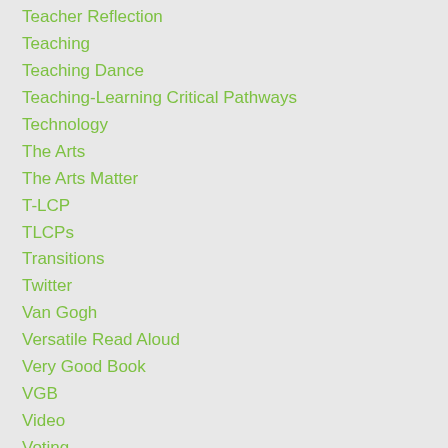Teacher Reflection
Teaching
Teaching Dance
Teaching-Learning Critical Pathways
Technology
The Arts
The Arts Matter
T-LCP
TLCPs
Transitions
Twitter
Van Gogh
Versatile Read Aloud
Very Good Book
VGB
Video
Voting
Welcoming
Wellbeing